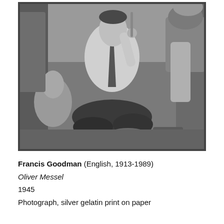[Figure (photo): Black and white photograph of a man in a white shirt and tie sitting cross-legged on the floor, holding what appears to be a prop or costume piece. A sculptural bust or head is visible on the left. Various props, furniture, and objects surround him in what appears to be a studio or workshop setting.]
Francis Goodman (English, 1913-1989)
Oliver Messel
1945
Photograph, silver gelatin print on paper